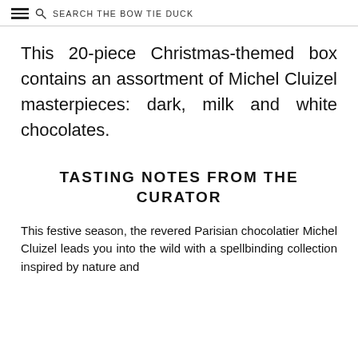SEARCH THE BOW TIE DUCK
This 20-piece Christmas-themed box contains an assortment of Michel Cluizel masterpieces: dark, milk and white chocolates.
TASTING NOTES FROM THE CURATOR
This festive season, the revered Parisian chocolatier Michel Cluizel leads you into the wild with a spellbinding collection inspired by nature and